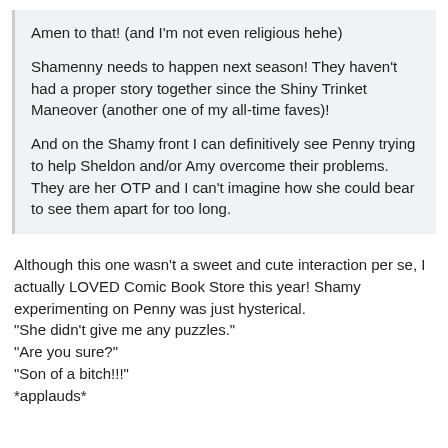Amen to that! (and I'm not even religious hehe)
Shamenny needs to happen next season! They haven't had a proper story together since the Shiny Trinket Maneover (another one of my all-time faves)!
And on the Shamy front I can definitively see Penny trying to help Sheldon and/or Amy overcome their problems. They are her OTP and I can't imagine how she could bear to see them apart for too long.
Although this one wasn't a sweet and cute interaction per se, I actually LOVED Comic Book Store this year! Shamy experimenting on Penny was just hysterical.
"She didn't give me any puzzles."
"Are you sure?"
"Son of a bitch!!!"
*applauds*